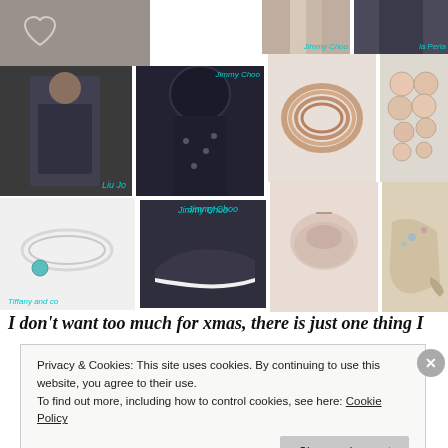[Figure (photo): Collage of fashion and lifestyle product images: heart drawn in sand, fashion trousers (Jimmy Choo), dark skirt (La Perla), woman in jacket (Liu Jo), dark scarf with stars (Jimmy Choo), rose gold bracelet/ring, donuts, silver bracelet (Tiffany and co), dark sneakers (Jimmy Choo), pink gift box, embellished heels]
I don't want too much for xmas, there is just one thing I
Privacy & Cookies: This site uses cookies. By continuing to use this website, you agree to their use.
To find out more, including how to control cookies, see here: Cookie Policy
Close and accept